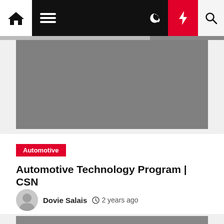Navigation bar with home, menu, dark mode, flash, and search icons
[Figure (photo): Large gray rectangular hero image placeholder]
Automotive
Automotive Technology Program | CSN
Dovie Salais  2 years ago
[Figure (photo): Black and white photo strip at bottom of page]